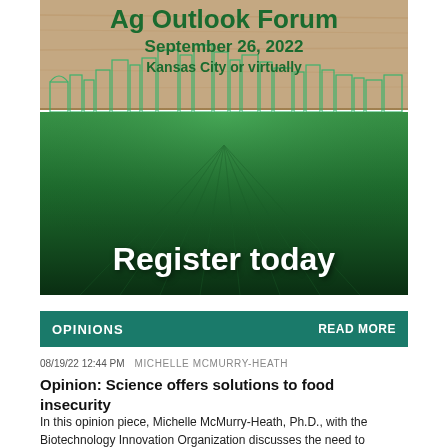[Figure (illustration): Ag Outlook Forum promotional banner image showing Kansas City skyline outline on wood background above green crop field with text 'Register today'. September 26, 2022, Kansas City or virtually.]
OPINIONS    READ MORE
08/19/22 12:44 PM   MICHELLE MCMURRY-HEATH
Opinion: Science offers solutions to food insecurity
In this opinion piece, Michelle McMurry-Heath, Ph.D., with the Biotechnology Innovation Organization discusses the need to